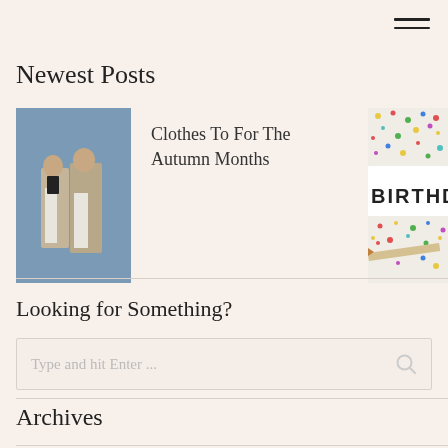[Figure (other): Hamburger menu icon — two horizontal lines in top right corner]
Newest Posts
[Figure (photo): Two women wearing beige/neutral autumn coats standing against a blue-grey sky background]
Clothes To For The Autumn Months
[Figure (photo): Partial view of a birthday lightbox sign with colourful confetti scattered around it reading BIRTHDAY]
Looking for Something?
[Figure (other): Search input box with placeholder text 'Type and hit Enter ...' and a search icon on the right]
Archives